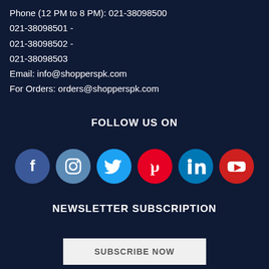Phone (12 PM to 8 PM): 021-38098500
021-38098501 -
021-38098502 -
021-38098503
Email: info@shopperspk.com
For Orders: orders@shopperspk.com
FOLLOW US ON
[Figure (illustration): Six social media icons in circles: Facebook (blue), Instagram (steel blue), Twitter (blue), Pinterest (red), LinkedIn (blue), YouTube (red)]
NEWSLETTER SUBSCRIPTION
SUBSCRIBE NOW